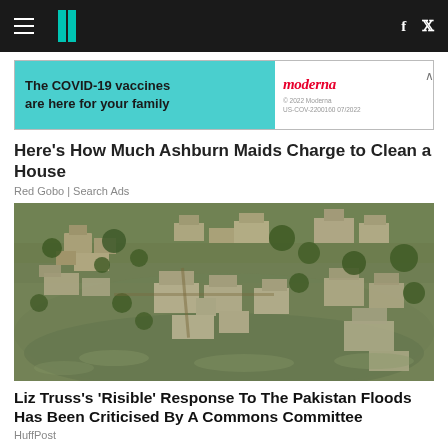HuffPost navigation bar with hamburger menu, logo, Facebook and Twitter icons
[Figure (screenshot): Advertisement banner: 'The COVID-19 vaccines are here for your family' with Moderna logo. © 2022 Moderna US-COV-2200160 07/2022]
Here's How Much Ashburn Maids Charge to Clean a House
Red Gobo | Search Ads
[Figure (photo): Aerial photograph of a flooded village in Pakistan, showing submerged buildings, mud-brick structures and trees surrounded by murky brown floodwater]
Liz Truss's 'Risible' Response To The Pakistan Floods Has Been Criticised By A Commons Committee
HuffPost